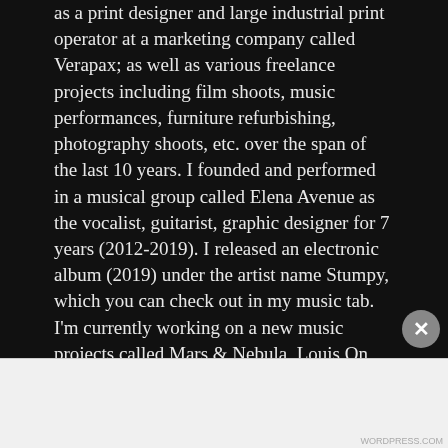as a print designer and large industrial print operator at a marketing company called Verapax; as well as various freelance projects including film shoots, music performances, furniture refurbishing, photography shoots, etc. over the span of the last 10 years. I founded and performed in a musical group called Elena Avenue as the vocalist, guitarist, graphic designer for 7 years (2012-2019). I released an electronic album (2019) under the artist name Stumpy, which you can check out in my music tab. I'm currently working on a new music projects called Mars & Nebula, Louis On Tour, a new Stumpy album, and some solo acoustic music. I am the founder,
Advertisements
Getting your team on the same page is easy. And free.